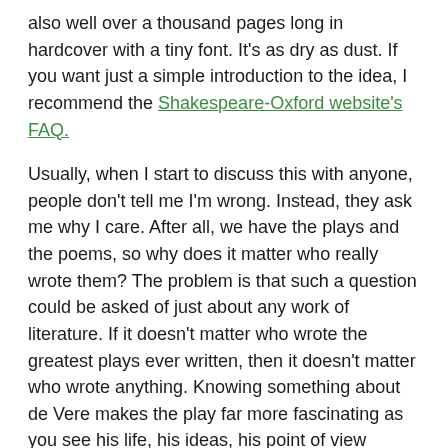also well over a thousand pages long in hardcover with a tiny font. It's as dry as dust. If you want just a simple introduction to the idea, I recommend the Shakespeare-Oxford website's FAQ.

Usually, when I start to discuss this with anyone, people don't tell me I'm wrong. Instead, they ask me why I care. After all, we have the plays and the poems, so why does it matter who really wrote them? The problem is that such a question could be asked of just about any work of literature. If it doesn't matter who wrote the greatest plays ever written, then it doesn't matter who wrote anything. Knowing something about de Vere makes the play far more fascinating as you see his life, his ideas, his point of view shining through. If you're a Shakespeare aficianado at all, knowing who really wrote the plays will enhance your appreciation for them tenfold. Still, despite a significant body of evidence pointing to de Vere as the true author, orthodoxy will not go quietly into that good night. I remember one particularly unpleasant experience